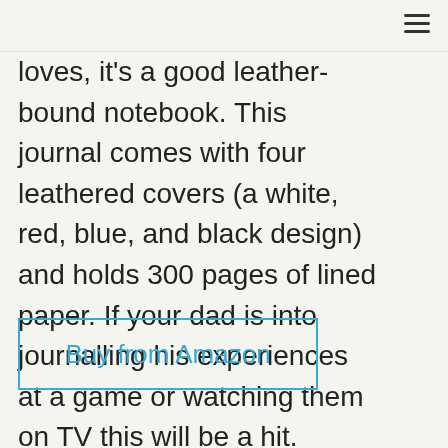loves, it's a good leather-bound notebook. This journal comes with four leathered covers (a white, red, blue, and black design) and holds 300 pages of lined paper. If your dad is into journalling his experiences at a game or watching them on TV this will be a hit.
Buy from Amazon